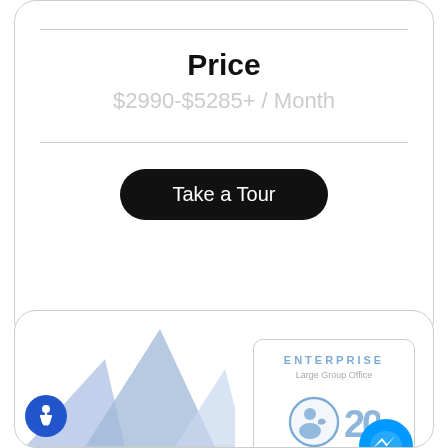Price
$2990-$5285+ / Month
Take a Tour
[Figure (screenshot): Enterprise Large Group Office badge with user icon and '20' label]
[Figure (illustration): Blue geometric building/house shapes at bottom left]
[Figure (logo): Accessibility icon button (blue circle with person figure)]
[Figure (logo): Facebook Messenger icon]